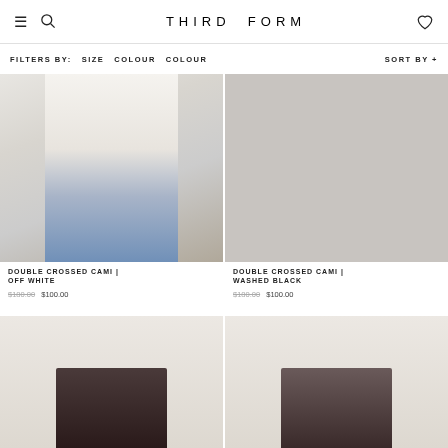THIRD FORM
FILTERS BY: SIZE COLOUR COLOUR    SORT BY +
[Figure (photo): Model wearing a white Double Crossed Cami top with ring detail and cutouts, paired with blue jeans]
[Figure (photo): Product photo placeholder for Double Crossed Cami in Washed Black — dark background/image]
DOUBLE CROSSED CAMI | OFF WHITE
$180.00 $100.00
DOUBLE CROSSED CAMI | WASHED BLACK
$180.00 $100.00
[Figure (photo): Model with dark hair wearing a black top, warm background]
[Figure (photo): Model with dark hair wearing a dark top, warm background]